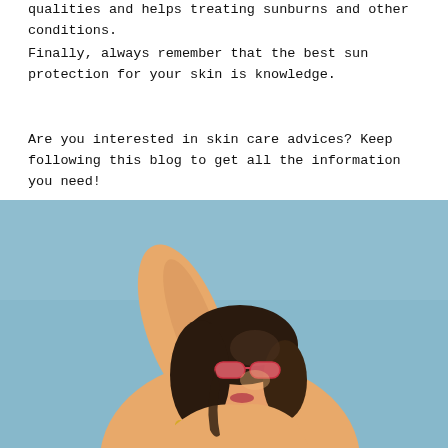qualities and helps treating sunburns and other conditions.
Finally, always remember that the best sun protection for your skin is knowledge.
Are you interested in skin care advices? Keep following this blog to get all the information you need!
[Figure (photo): A woman in a yellow top wearing pink sunglasses, head tilted back looking up toward the sky, against a light blue background. Sun-kissed skin care / sunscreen blog imagery.]